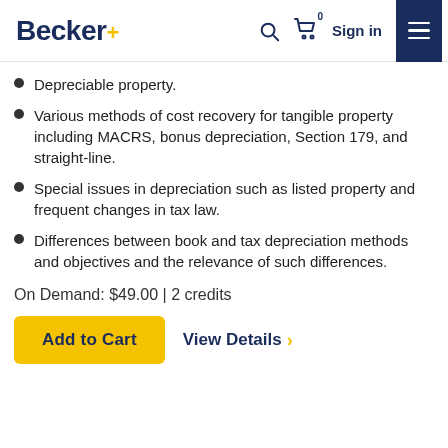Becker+ | Sign in
Depreciable property.
Various methods of cost recovery for tangible property including MACRS, bonus depreciation, Section 179, and straight-line.
Special issues in depreciation such as listed property and frequent changes in tax law.
Differences between book and tax depreciation methods and objectives and the relevance of such differences.
On Demand: $49.00 | 2 credits
Add to Cart  View Details